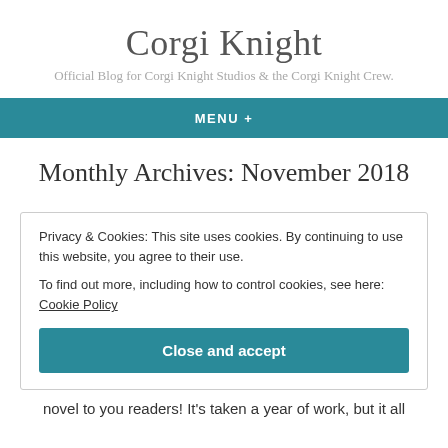Corgi Knight
Official Blog for Corgi Knight Studios & the Corgi Knight Crew.
MENU +
Monthly Archives: November 2018
Privacy & Cookies: This site uses cookies. By continuing to use this website, you agree to their use.
To find out more, including how to control cookies, see here: Cookie Policy
Close and accept
novel to you readers! It's taken a year of work, but it all